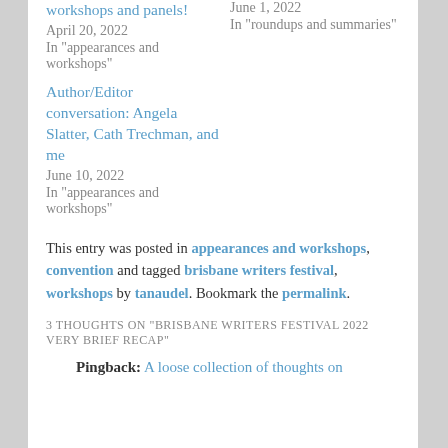workshops and panels!
April 20, 2022
In "appearances and workshops"
June 1, 2022
In "roundups and summaries"
Author/Editor conversation: Angela Slatter, Cath Trechman, and me
June 10, 2022
In "appearances and workshops"
This entry was posted in appearances and workshops, convention and tagged brisbane writers festival, workshops by tanaudel. Bookmark the permalink.
3 THOUGHTS ON "BRISBANE WRITERS FESTIVAL 2022 VERY BRIEF RECAP"
Pingback: A loose collection of thoughts on